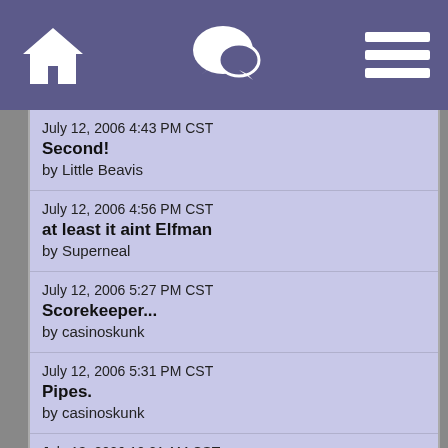[Figure (screenshot): Mobile app header bar with home icon, chat bubble icon, and hamburger menu icon on purple background]
July 12, 2006 4:43 PM CST
Second!
by Little Beavis
July 12, 2006 4:56 PM CST
at least it aint Elfman
by Superneal
July 12, 2006 5:27 PM CST
Scorekeeper...
by casinoskunk
July 12, 2006 5:31 PM CST
Pipes.
by casinoskunk
July 13, 2006 10:21 AM CST
i think you got Zimmer and Horner confused with Elfman
by oscarmike
July 15, 2006 12:21 AM CST
No
by ...